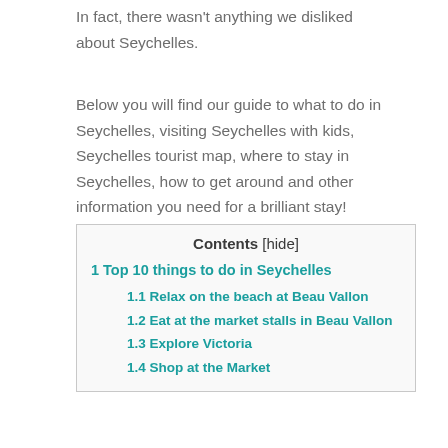In fact, there wasn't anything we disliked about Seychelles.
Below you will find our guide to what to do in Seychelles, visiting Seychelles with kids, Seychelles tourist map, where to stay in Seychelles, how to get around and other information you need for a brilliant stay!
1 Top 10 things to do in Seychelles
1.1 Relax on the beach at Beau Vallon
1.2 Eat at the market stalls in Beau Vallon
1.3 Explore Victoria
1.4 Shop at the Market